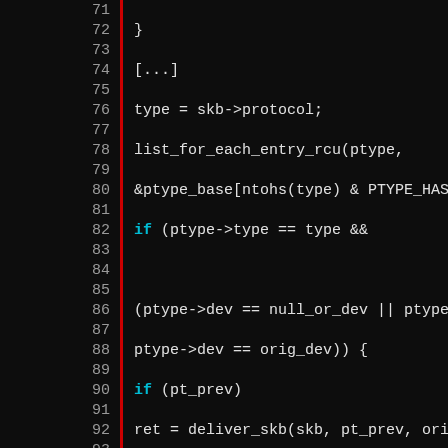[Figure (screenshot): Source code screenshot showing C code lines 71-95 with line numbers on the left separated by a red vertical bar, dark background, monospace font. Code involves packet type processing with list_for_each_entry_rcu, ptype checks, and deliver_skb calls.]